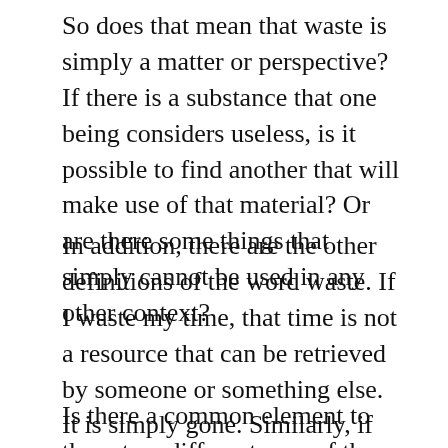So does that mean that waste is simply a matter or perspective? If there is a substance that one being considers useless, is it possible to find another that will make use of that material? Or are there some things that simply cannot be used in any other context?
In addition, there are the other definitions of the word waste. If I waste my time, that time is not a resource that can be retrieved by someone or something else. It is simply gone. Similarly, if an person wastes their potential, that isn’t a resource that is available to others.
Is there a common element to these two different uses of the word waste, between the